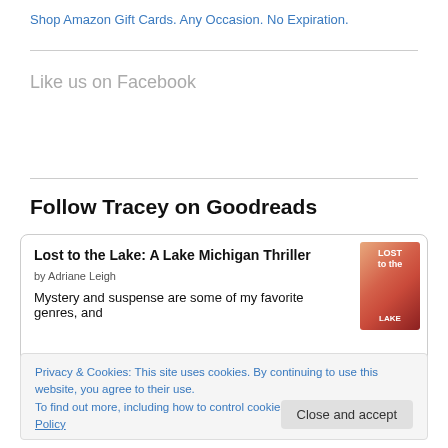Shop Amazon Gift Cards. Any Occasion. No Expiration.
Like us on Facebook
Follow Tracey on Goodreads
Lost to the Lake: A Lake Michigan Thriller
by Adriane Leigh
Mystery and suspense are some of my favorite genres, and
Privacy & Cookies: This site uses cookies. By continuing to use this website, you agree to their use.
To find out more, including how to control cookies, see here: Cookie Policy
Close and accept